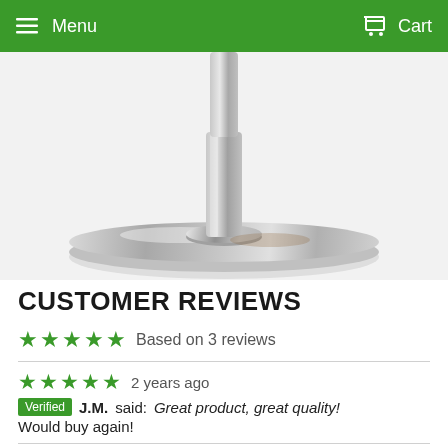Menu   Cart
[Figure (photo): Close-up of a brushed stainless steel product base/stand with a circular disc shape and central cylindrical post, on a light background]
CUSTOMER REVIEWS
Based on 3 reviews
2 years ago
Verified J.M. said: Great product, great quality! Would buy again!
2 years ago